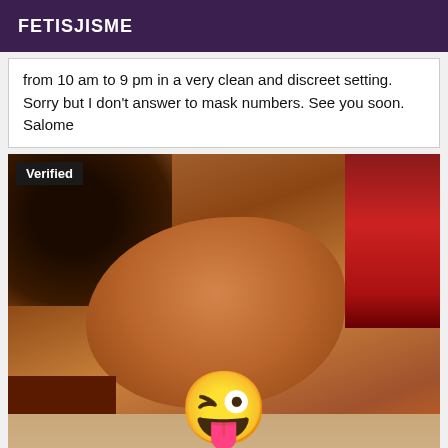FETISJISME
from 10 am to 9 pm in a very clean and discreet setting. Sorry but I don't answer to mask numbers. See you soon. Salome
[Figure (photo): Photo of a person lying down receiving a massage, with a winking face emoji overlay and a 'Verified' badge in top left corner.]